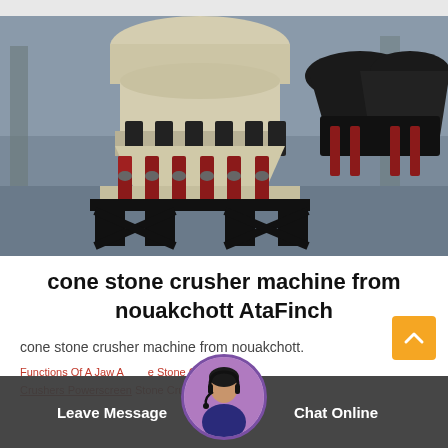[Figure (photo): Photograph of cone stone crusher machines in an industrial factory setting. Large beige/cream colored cone crushers with black and red hydraulic components on black steel bases, multiple units visible.]
cone stone crusher machine from nouakchott AtaFinch
cone stone crusher machine from nouakchott.
Functions Of A Jaw And Stone Crusher,Cone Crushers Powerscreen, Stone Crusher Cone Jaw